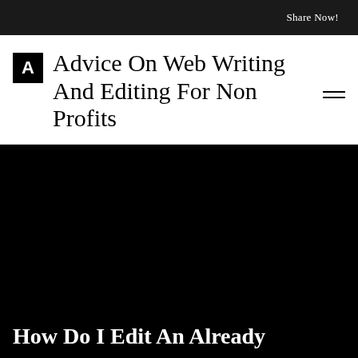Share Now!
Advice On Web Writing And Editing For Non Profits
[Figure (other): Large dark/black hero image area]
How Do I Edit An Already